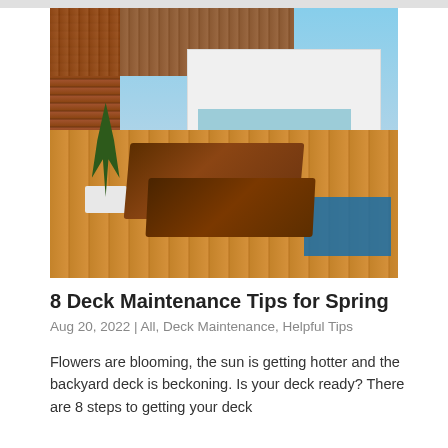[Figure (photo): A modern home exterior with a wooden deck featuring lounge chairs beside a pool, palm plants, wooden slat walls and overhead pergola, with large glass windows and blue sky background.]
8 Deck Maintenance Tips for Spring
Aug 20, 2022 | All, Deck Maintenance, Helpful Tips
Flowers are blooming, the sun is getting hotter and the backyard deck is beckoning. Is your deck ready? There are 8 steps to getting your deck...